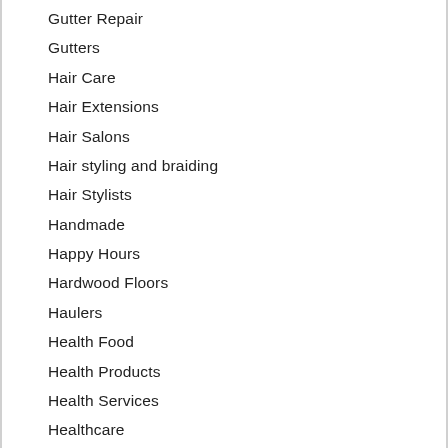Gutter Repair
Gutters
Hair Care
Hair Extensions
Hair Salons
Hair styling and braiding
Hair Stylists
Handmade
Happy Hours
Hardwood Floors
Haulers
Health Food
Health Products
Health Services
Healthcare